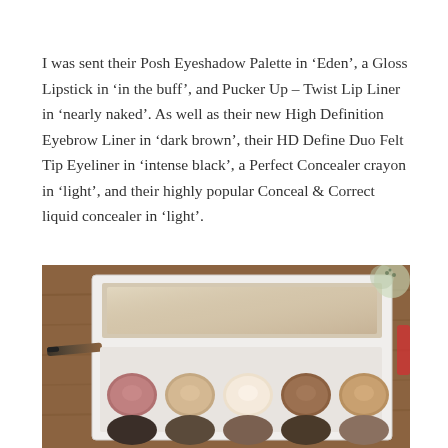I was sent their Posh Eyeshadow Palette in 'Eden', a Gloss Lipstick in 'in the buff', and Pucker Up – Twist Lip Liner in 'nearly naked'. As well as their new High Definition Eyebrow Liner in 'dark brown', their HD Define Duo Felt Tip Eyeliner in 'intense black', a Perfect Concealer crayon in 'light', and their highly popular Conceal & Correct liquid concealer in 'light'.
[Figure (photo): Photograph of an open eyeshadow palette with multiple eyeshadow pans in neutral and brown tones, placed on a wooden surface. The palette is white with a mirror inside the lid, and there appears to be a brush alongside it.]